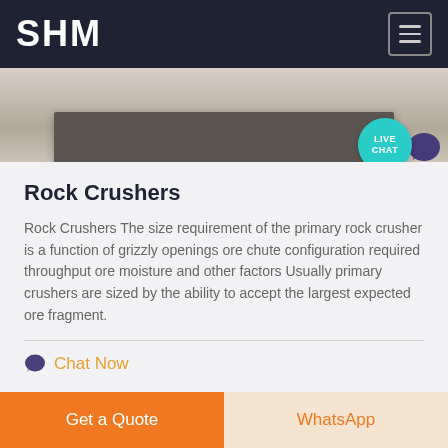SHM
[Figure (photo): A partial image of a book or flat object on a light background, viewed from above, showing the edge/spine.]
Rock Crushers
Rock Crushers The size requirement of the primary rock crusher is a function of grizzly openings ore chute configuration required throughput ore moisture and other factors Usually primary crushers are sized by the ability to accept the largest expected ore fragment.
Chat Now